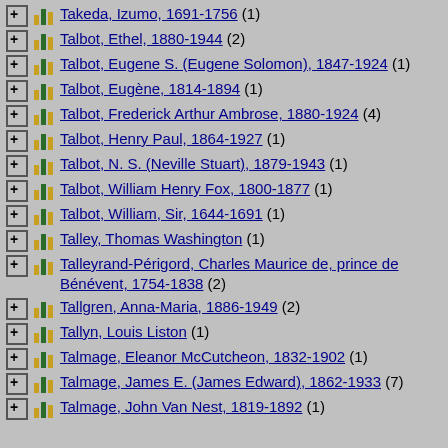Takeda, Izumo, 1691-1756 (1)
Talbot, Ethel, 1880-1944 (2)
Talbot, Eugene S. (Eugene Solomon), 1847-1924 (1)
Talbot, Eugène, 1814-1894 (1)
Talbot, Frederick Arthur Ambrose, 1880-1924 (4)
Talbot, Henry Paul, 1864-1927 (1)
Talbot, N. S. (Neville Stuart), 1879-1943 (1)
Talbot, William Henry Fox, 1800-1877 (1)
Talbot, William, Sir, 1644-1691 (1)
Talley, Thomas Washington (1)
Talleyrand-Périgord, Charles Maurice de, prince de Bénévent, 1754-1838 (2)
Tallgren, Anna-Maria, 1886-1949 (2)
Tallyn, Louis Liston (1)
Talmage, Eleanor McCutcheon, 1832-1902 (1)
Talmage, James E. (James Edward), 1862-1933 (7)
Talmage, John Van Nest, 1819-1892 (1)